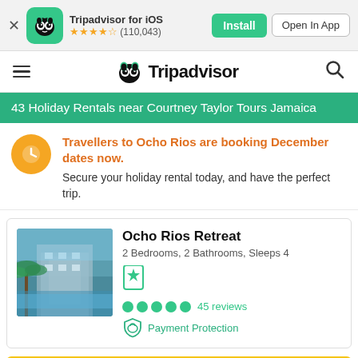[Figure (screenshot): Tripadvisor iOS app install banner with owl icon, star rating (110,043 reviews), Install and Open In App buttons]
[Figure (logo): Tripadvisor navigation bar with hamburger menu, owl logo, Tripadvisor wordmark, and search icon]
43 Holiday Rentals near Courtney Taylor Tours Jamaica
Travellers to Ocho Rios are booking December dates now. Secure your holiday rental today, and have the perfect trip.
Ocho Rios Retreat
2 Bedrooms, 2 Bathrooms, Sleeps 4
45 reviews
Payment Protection
Show Prices